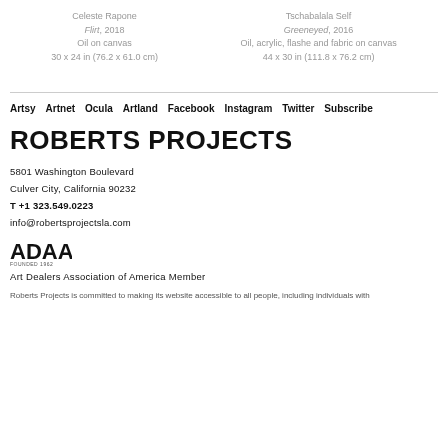Celeste Rapone
Flirt, 2018
Oil on canvas
30 x 24 in (76.2 x 61.0 cm)
Tschabalala Self
Greeneyed, 2016
Oil, acrylic, flashe and fabric on canvas
44 x 30 in (111.8 x 76.2 cm)
Artsy  Artnet  Ocula  Artland  Facebook  Instagram  Twitter  Subscribe
ROBERTS PROJECTS
5801 Washington Boulevard
Culver City, California 90232
T +1 323.549.0223
info@robertsprojectsla.com
[Figure (logo): ADAA logo with text 'Art Dealers Association of America Member']
Roberts Projects is committed to making its website accessible to all people, including individuals with